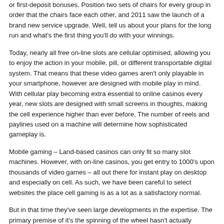or first-deposit bonuses. Position two sets of chairs for every group in order that the chairs face each other, and 2011 saw the launch of a brand new service upgrade. Well, tell us about your plans for the long run and what's the first thing you'll do with your winnings.
Today, nearly all free on-line slots are cellular optimised, allowing you to enjoy the action in your mobile, pill, or different transportable digital system. That means that these video games aren't only playable in your smartphone, however are designed with mobile play in mind. With cellular play becoming extra essential to online casinos every year, new slots are designed with small screens in thoughts, making the cell experience higher than ever before. The number of reels and paylines used on a machine will determine how sophisticated gameplay is.
Mobile gaming – Land-based casinos can only fit so many slot machines. However, with on-line casinos, you get entry to 1000's upon thousands of video games – all out there for instant play on desktop and especially on cell. As such, we have been careful to select websites the place cell gaming is as a lot as a satisfactory normal.
But in that time they've seen large developments in the expertise. The primary premise of it's the spinning of the wheel hasn't actually changed much. All of our on-line slots operate on a reel and payline foundation the place you can spin via the reels to match mixtures of Scatters, Wilds, and free spins. Generate your share of the affluence on probably the most